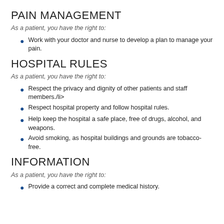PAIN MANAGEMENT
As a patient, you have the right to:
Work with your doctor and nurse to develop a plan to manage your pain.
HOSPITAL RULES
As a patient, you have the right to:
Respect the privacy and dignity of other patients and staff members./li>
Respect hospital property and follow hospital rules.
Help keep the hospital a safe place, free of drugs, alcohol, and weapons.
Avoid smoking, as hospital buildings and grounds are tobacco-free.
INFORMATION
As a patient, you have the right to:
Provide a correct and complete medical history.